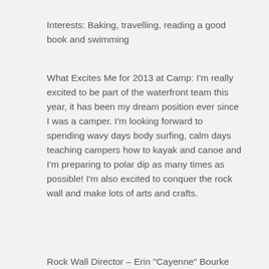Interests: Baking, travelling, reading a good book and swimming
What Excites Me for 2013 at Camp: I'm really excited to be part of the waterfront team this year, it has been my dream position ever since I was a camper. I'm looking forward to spending wavy days body surfing, calm days teaching campers how to kayak and canoe and I'm preparing to polar dip as many times as possible! I'm also excited to conquer the rock wall and make lots of arts and crafts.
Rock Wall Director – Erin "Cayenne" Bourke